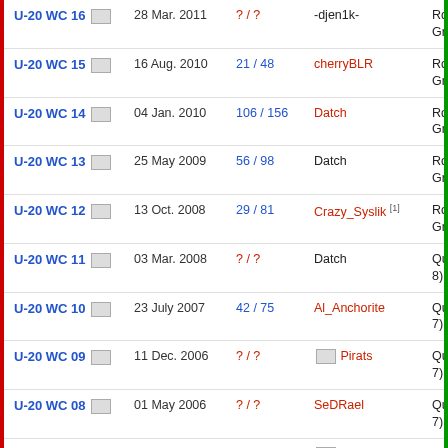| Tournament | Date | Rank | User | Result |
| --- | --- | --- | --- | --- |
| U-20 WC 16 | 28 Mar. 2011 | ? / ? | -djen1k- | Round I, 8th place in Group 7 |
| U-20 WC 15 | 16 Aug. 2010 | 21 / 48 | cherryBLR | Round I, 7th place in Group 4 |
| U-20 WC 14 | 04 Jan. 2010 | 106 / 156 | Datch | Round II, 4th place in Group 7 |
| U-20 WC 13 | 25 May 2009 | 56 / 98 | Datch | Round I, 4th place in Group 11 |
| U-20 WC 12 | 13 Oct. 2008 | 29 / 81 | Crazy_Syslik [1] | Round II, 4th place in Group 7 |
| U-20 WC 11 | 03 Mar. 2008 | ? / ? | Datch | Qualification (6 out of 8) |
| U-20 WC 10 | 23 July 2007 | 42 / 75 | Al_Anchorite | Qualification (4 out of 7) |
| U-20 WC 09 | 11 Dec. 2006 | ? / ? | Pirats | Qualification (3 out of 7) |
| U-20 WC 08 | 01 May 2006 | ? / ? | SeDRael | Qualification (5 out of 7) |
| U-20 WC 07 | 19 Sept. 2005 | ? / ? | Nicolas_homme | Qualification (3 out of 7) |
| U-20 WC 06 | 07 Feb. 2005 | ? / ? | Nicolas_homme | Qualification (5 out of 7) |